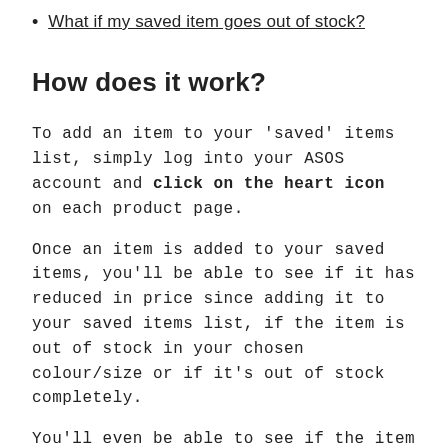What if my saved item goes out of stock?
How does it work?
To add an item to your 'saved' items list, simply log into your ASOS account and click on the heart icon on each product page.
Once an item is added to your saved items, you'll be able to see if it has reduced in price since adding it to your saved items list, if the item is out of stock in your chosen colour/size or if it's out of stock completely.
You'll even be able to see if the item is low in stock so you can snap it up before it goes out of stock.